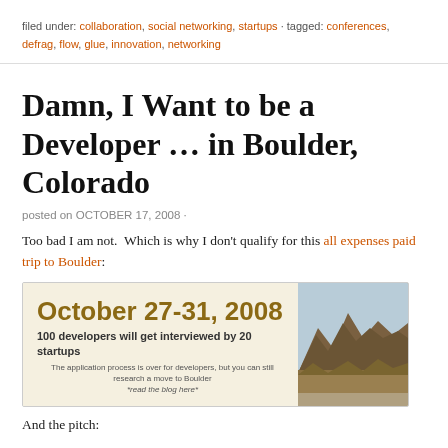filed under: collaboration, social networking, startups · tagged: conferences, defrag, flow, glue, innovation, networking
Damn, I Want to be a Developer … in Boulder, Colorado
posted on OCTOBER 17, 2008 ·
Too bad I am not.  Which is why I don't qualify for this all expenses paid trip to Boulder:
[Figure (infographic): Banner ad: 'October 27-31, 2008 — 100 developers will get interviewed by 20 startups. The application process is over for developers, but you can still research a move to Boulder — read the blog here' with a photo of Boulder's Flatirons mountains on the right side.]
And the pitch: